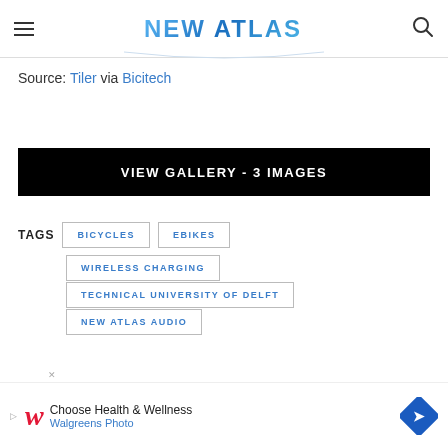NEW ATLAS
Source: Tiler via Bicitech
VIEW GALLERY - 3 IMAGES
TAGS: BICYCLES | EBIKES | WIRELESS CHARGING | TECHNICAL UNIVERSITY OF DELFT | NEW ATLAS AUDIO
[Figure (other): Walgreens advertisement banner: Choose Health & Wellness - Walgreens Photo]